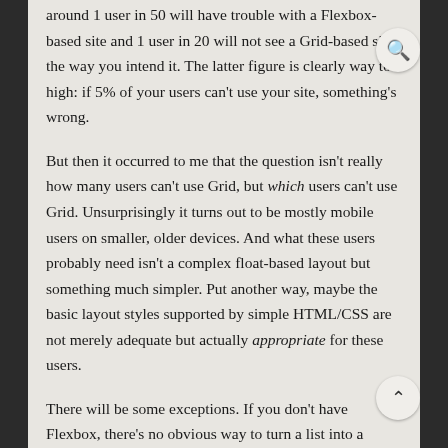around 1 user in 50 will have trouble with a Flexbox-based site and 1 user in 20 will not see a Grid-based site the way you intend it. The latter figure is clearly way too high: if 5% of your users can't use your site, something's wrong.
But then it occurred to me that the question isn't really how many users can't use Grid, but which users can't use Grid. Unsurprisingly it turns out to be mostly mobile users on smaller, older devices. And what these users probably need isn't a complex float-based layout but something much simpler. Put another way, maybe the basic layout styles supported by simple HTML/CSS are not merely adequate but actually appropriate for these users.
There will be some exceptions. If you don't have Flexbox, there's no obvious way to turn a list into a horizontal row of items without using float or (shudder) tables. Overall, though, it looks as if we really have reached the tipping point as far as Flexbox and Grid are concerned, and float for layouts can indeed be allowed to die.